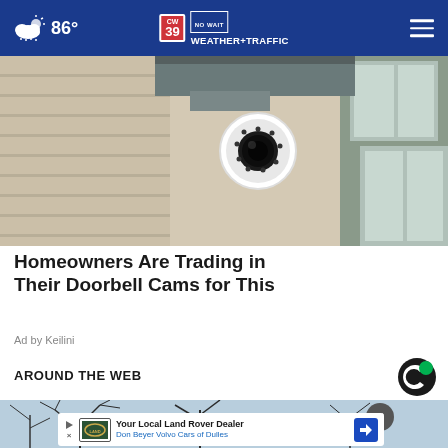86° CW39 NO WAIT WEATHER+TRAFFIC
[Figure (photo): Security camera mounted on exterior of house near a window, white PTZ dome camera with LED ring]
Homeowners Are Trading in Their Doorbell Cams for This
Ad by Keilini
AROUND THE WEB
[Figure (photo): Winter scene with bare tree branches against a light blue sky, partially visible]
[Figure (other): Advertisement banner: Your Local Land Rover Dealer - Don Beyer Volvo Cars of Dulles]